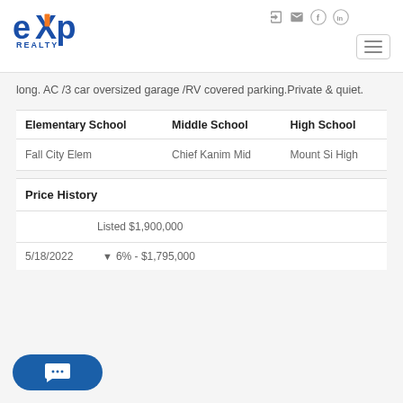[Figure (logo): eXp Realty logo — blue 'exp' text with orange X accent and 'REALTY' below]
long. AC /3 car oversized garage /RV covered parking.Private & quiet.
| Elementary School | Middle School | High School |
| --- | --- | --- |
| Fall City Elem | Chief Kanim Mid | Mount Si High |
Price History
Listed $1,900,000
5/18/2022  ▼ 6% - $1,795,000